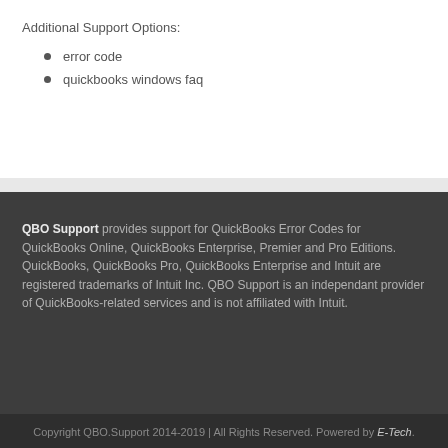Additional Support Options:
error code
quickbooks windows faq
QBO Support provides support for QuickBooks Error Codes for QuickBooks Online, QuickBooks Enterprise, Premier and Pro Editions. QuickBooks, QuickBooks Pro, QuickBooks Enterprise and Intuit are registered trademarks of Intuit Inc. QBO Support is an independant provider of QuickBooks-related services and is not affiliated with Intuit.
Copyright QBO.Support 2014-2019 | All Rights Reserved. Powered by E-Tech.